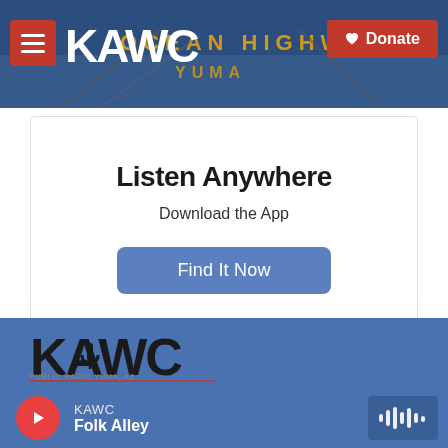KAWC | Donate
Listen Anywhere
Download the App
Find It Now
[Figure (logo): KAWC radio station logo in white text on blue/photo background footer]
KAWC
Folk Alley